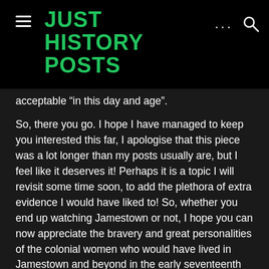JUST HISTORY POSTS
acceptable “in this day and age”.
So, there you go. I hope I have managed to keep you interested this far, I apologise that this piece was a lot longer than my posts usually are, but I feel like it deserves it! Perhaps it is a topic I will revisit some time soon, to add the plethora of extra evidence I would have liked to! So, whether you end up watching Jamestown or not, I hope you can now appreciate the bravery and great personalities of the colonial women who would have lived in Jamestown and beyond in the early seventeenth century.